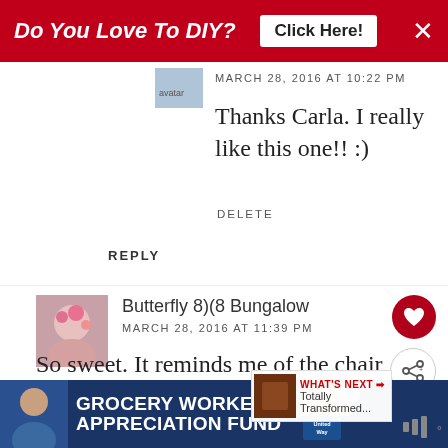[Figure (screenshot): Red advertisement banner at top: 'Do You Love To DIY? Click Here!' with close button]
MARCH 28, 2016 AT 10:22 PM
Thanks Carla. I really like this one!! :)
DELETE
REPLY
Butterfly 8)(8 Bungalow
MARCH 28, 2016 AT 11:39 PM
So sweet. It reminds me of the chair you upholstered, but light spring! xoxo Su
[Figure (screenshot): Bottom advertisement for Grocery Worker's Appreciation Fund with Kendall-Jackson and United Way logos]